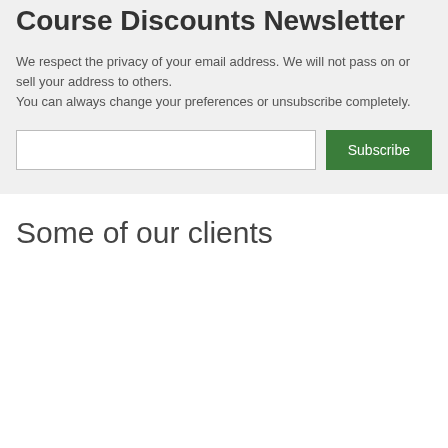Course Discounts Newsletter
We respect the privacy of your email address. We will not pass on or sell your address to others.
You can always change your preferences or unsubscribe completely.
Some of our clients